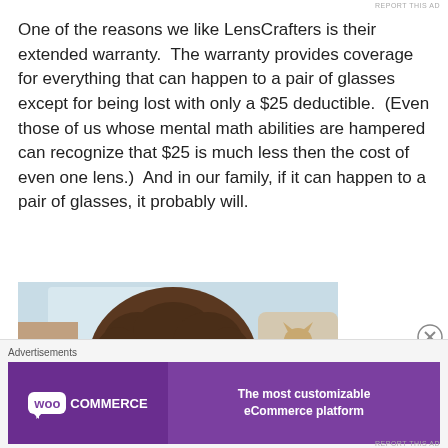REPORT THIS AD
One of the reasons we like LensCrafters is their extended warranty.  The warranty provides coverage for everything that can happen to a pair of glasses except for being lost with only a $25 deductible.  (Even those of us whose mental math abilities are hampered can recognize that $25 is much less then the cost of even one lens.)  And in our family, if it can happen to a pair of glasses, it probably will.
[Figure (photo): Photo of a person with curly hair and glasses sitting in a car, with a cat visible in the background seat.]
Advertisements
[Figure (logo): WooCommerce advertisement banner: purple background with WooCommerce logo on left and text 'The most customizable eCommerce platform' on right.]
REPORT THIS AD